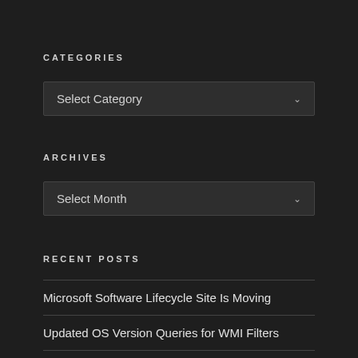CATEGORIES
[Figure (screenshot): Dropdown select box with label 'Select Category' and a chevron arrow on the right]
ARCHIVES
[Figure (screenshot): Dropdown select box with label 'Select Month' and a chevron arrow on the right]
RECENT POSTS
Microsoft Software Lifecycle Site Is Moving
Updated OS Version Queries for WMI Filters